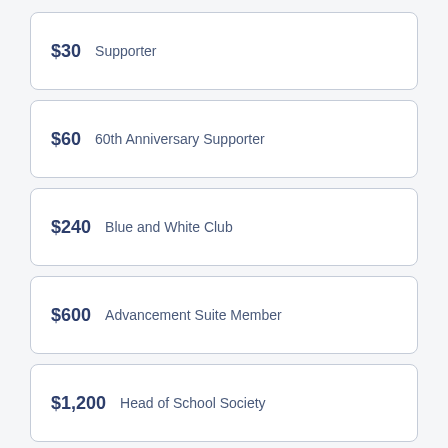$30  Supporter
$60  60th Anniversary Supporter
$240  Blue and White Club
$600  Advancement Suite Member
$1,200  Head of School Society